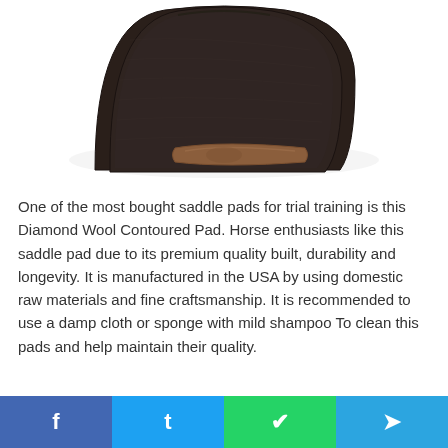[Figure (photo): Dark brown/black wool contoured saddle pad with a tan leather accent strip near the bottom edge, photographed on a white background from above at an angle.]
One of the most bought saddle pads for trial training is this Diamond Wool Contoured Pad. Horse enthusiasts like this saddle pad due to its premium quality built, durability and longevity. It is manufactured in the USA by using domestic raw materials and fine craftsmanship. It is recommended to use a damp cloth or sponge with mild shampoo To clean this pads and help maintain their quality.